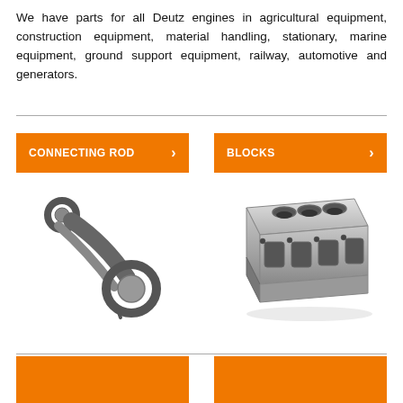We have parts for all Deutz engines in agricultural equipment, construction equipment, material handling, stationary, marine equipment, ground support equipment, railway, automotive and generators.
[Figure (illustration): Orange button labeled CONNECTING ROD with right arrow]
[Figure (illustration): Orange button labeled BLOCKS with right arrow]
[Figure (photo): Photo of a connecting rod engine part, dark grey metal]
[Figure (photo): Photo of an engine block, silver-grey metal V-type block]
[Figure (illustration): Orange button partially visible at bottom left]
[Figure (illustration): Orange button partially visible at bottom right]